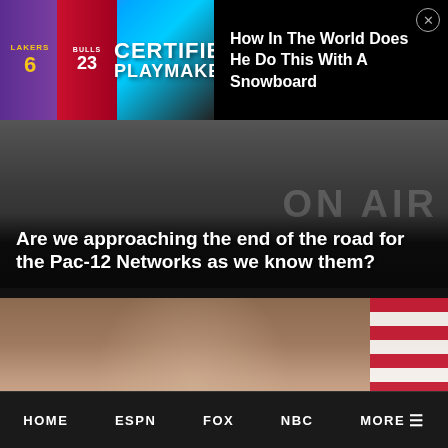[Figure (screenshot): Ad banner showing basketball jerseys (Lakers #6, Bulls) on the left with 'CERTIFIED PLAYMAKER' text overlay, and on the right text reading 'How In The World Does He Do This With A Snowboard' with a close button]
Are we approaching the end of the road for the Pac-12 Networks as we know them?
[Figure (screenshot): Photo of Rep. Jim Jordan wearing glasses, seated at a hearing, with a US flag visible behind him to the right]
Rep. Jim Jordan bizarrely uses Washington Commanders hearing to grill
HOME   ESPN   FOX   NBC   MORE